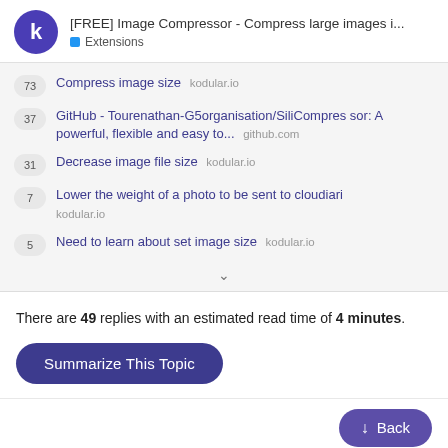[FREE] Image Compressor - Compress large images i... Extensions
73 Compress image size kodular.io
37 GitHub - Tourenathan-G5organisation/SiliCompressor: A powerful, flexible and easy to... github.com
31 Decrease image file size kodular.io
7 Lower the weight of a photo to be sent to cloudiari kodular.io
5 Need to learn about set image size kodular.io
There are 49 replies with an estimated read time of 4 minutes.
Summarize This Topic
Back
Mohamed_Tamer Professional Support 1 / 50